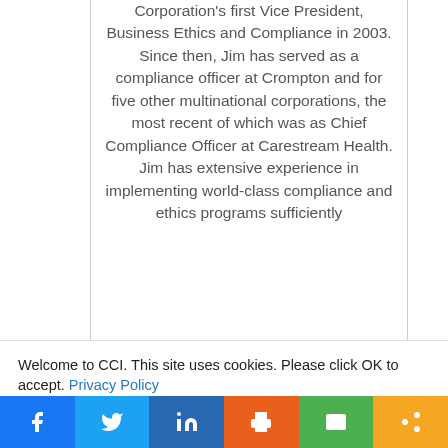Corporation's first Vice President, Business Ethics and Compliance in 2003. Since then, Jim has served as a compliance officer at Crompton and for five other multinational corporations, the most recent of which was as Chief Compliance Officer at Carestream Health. Jim has extensive experience in implementing world-class compliance and ethics programs sufficiently
Welcome to CCI. This site uses cookies. Please click OK to accept. Privacy Policy
Cookie settings
ACCEPT